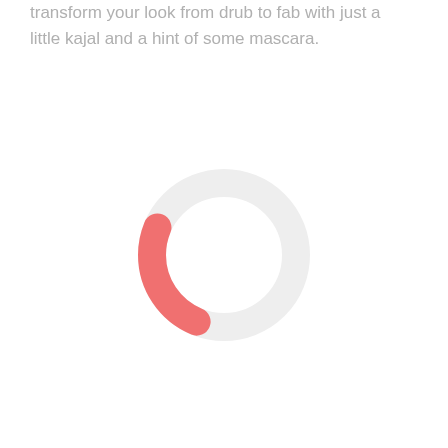transform your look from drub to fab with just a little kajal and a hint of some mascara.
[Figure (donut-chart): A donut chart (ring shape) with a large light gray background ring and a salmon/coral colored arc covering approximately 25% of the ring on the left side, representing a partial progress or proportion indicator.]